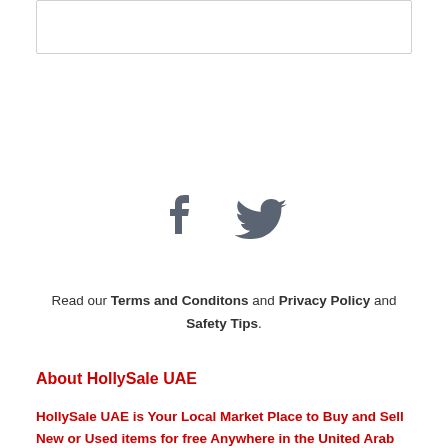[Figure (other): Top border box (partial, decorative)]
[Figure (other): Facebook and Twitter social media icons in gray]
Read our Terms and Conditons and Privacy Policy and Safety Tips.
About HollySale UAE
HollySale UAE is Your Local Market Place to Buy and Sell New or Used items for free Anywhere in the United Arab